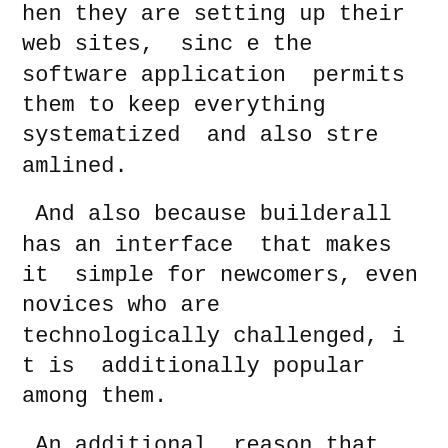hen they are setting up their web sites, since the software application permits them to keep everything systematized and also streamlined.
And also because builderall has an interface that makes it simple for newcomers, even novices who are technologically challenged, it is additionally popular among them.
An additional reason that builderall is such a preferred electronic advertising and marketing system is that it provides marketing experts with a set of prefabricated back office devices.
The tools consist of associate monitoring d